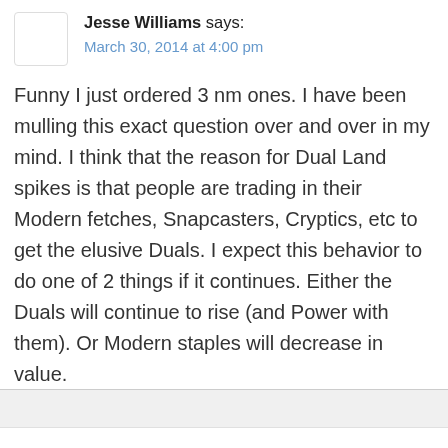Jesse Williams says: March 30, 2014 at 4:00 pm
Funny I just ordered 3 nm ones. I have been mulling this exact question over and over in my mind. I think that the reason for Dual Land spikes is that people are trading in their Modern fetches, Snapcasters, Cryptics, etc to get the elusive Duals. I expect this behavior to do one of 2 things if it continues. Either the Duals will continue to rise (and Power with them). Or Modern staples will decrease in value.
Log in to Reply